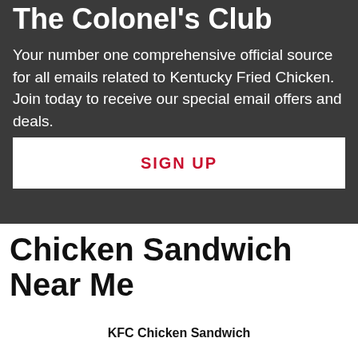The Colonel's Club
Your number one comprehensive official source for all emails related to Kentucky Fried Chicken. Join today to receive our special email offers and deals.
SIGN UP
Chicken Sandwich Near Me
KFC Chicken Sandwich